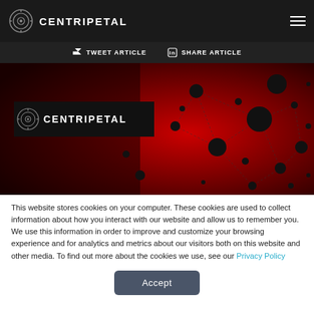CENTRIPETAL
[Figure (screenshot): Centripetal branded hero banner image with red background and network node/dot visualization graphic, black dots connected by dashed lines on a red-to-dark-red gradient background. Centripetal logo overlaid on left side in black box.]
This website stores cookies on your computer. These cookies are used to collect information about how you interact with our website and allow us to remember you. We use this information in order to improve and customize your browsing experience and for analytics and metrics about our visitors both on this website and other media. To find out more about the cookies we use, see our Privacy Policy
Accept